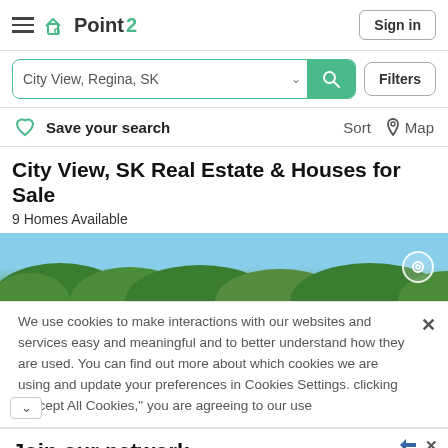Point2 — Sign in
City View, Regina, SK — Search input with Filters button
Save your search   Sort   Map
City View, SK Real Estate & Houses for Sale
9 Homes Available
[Figure (photo): Outdoor photo banner showing trees and blue sky with a circular pin icon on the right]
We use cookies to make interactions with our websites and services easy and meaningful and to better understand how they are used. You can find out more about which cookies we are using and update your preferences in Cookies Settings. clicking “Accept All Cookies,” you are agreeing to our use
Join our network
LPI is the luxury marketing division of Leading Real Estate Companies of the World® Luxury Portfolio Int.